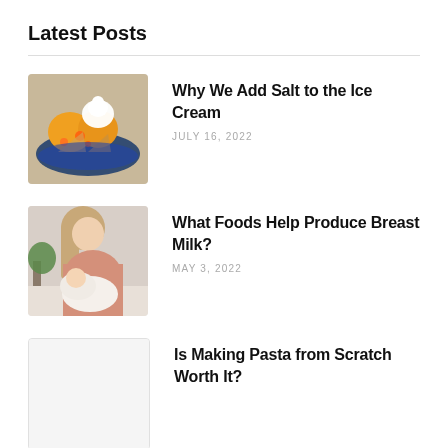Latest Posts
Why We Add Salt to the Ice Cream | JULY 16, 2022
What Foods Help Produce Breast Milk? | MAY 3, 2022
Is Making Pasta from Scratch Worth It?